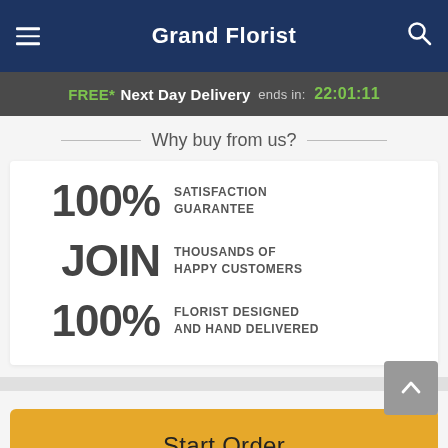Grand Florist
FREE* Next Day Delivery ends in: 22:01:11
Why buy from us?
100% SATISFACTION GUARANTEE
JOIN THOUSANDS OF HAPPY CUSTOMERS
100% FLORIST DESIGNED AND HAND DELIVERED
Start Order